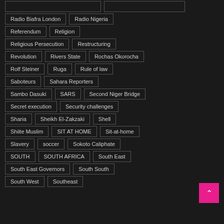Radio Biafra London
Radio Nigeria
Referendum
Religion
Religious Persecution
Restructuring
Revolution
Rivers State
Rochas Okorocha
Rolf Steiner
Ruga
Rule of law
Saboteurs
Sahara Reporters
Sambo Dasuki
SARS
Second Niger Bridge
Secret execution
Security challenges
Sharia
Sheikh El-Zakzaki
Shell
Shiite Muslim
SIT AT HOME
Sit-at-home
Slavery
soccer
Sokoto Caliphate
SOUTH
SOUTH AFRICA
South East
South East Governors
South South
South West
Southeast